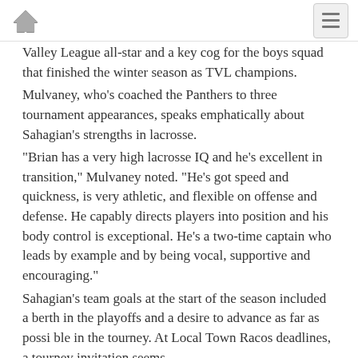Home | Menu
Valley League all-star and a key cog for the boys squad that finished the winter season as TVL champions.
Mulvaney, who's coached the Panthers to three tournament appearances, speaks emphatically about Sahagian's strengths in lacrosse.
“Brian has a very high lacrosse IQ and he’s excellent in transition,” Mulvaney noted. “He’s got speed and quickness, is very athletic, and flexible on offense and defense. He capably directs players into position and his body control is exceptional. He's a two-time captain who leads by example and by being vocal, supportive and encouraging.”
Sahagian’s team goals at the start of the season included a berth in the playoffs and a desire to advance as far as possi ble in the tourney. At Local Town Racos deadlines, a tourney invitation seems